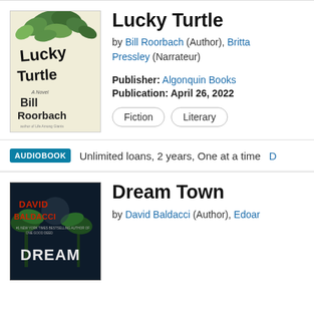[Figure (illustration): Book cover for Lucky Turtle by Bill Roorbach, showing hand-drawn lettering with green leaves and plants on a cream background]
Lucky Turtle
by Bill Roorbach (Author), Brittany Pressley (Narrateur)
Publisher: Algonquin Books
Publication: April 26, 2022
Fiction
Literary
AUDIOBOOK  Unlimited loans, 2 years, One at a time  D
[Figure (illustration): Book cover for Dream Town by David Baldacci, dark themed with palm trees and red title text]
Dream Town
by David Baldacci (Author), Edoar...